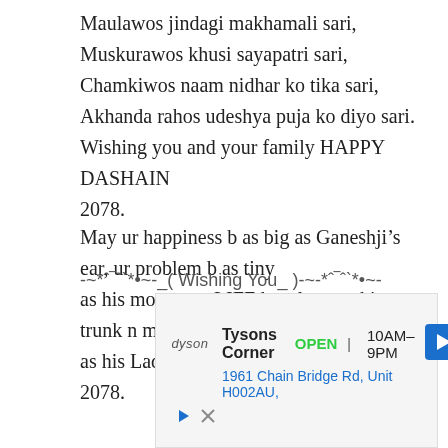Maulawos jindagi makhamali sari,
Muskurawos khusi sayapatri sari,
Chamkiwos naam nidhar ko tika sari,
Akhanda rahos udeshya puja ko diyo sari.
Wishing you and your family HAPPY DASHAIN 2078.
May ur happiness b as big as Ganeshji’s ear, ur problem b as tiny
as his mouse, ur LIFE b as long as his trunk n moments b as sweet
as his Laddu. HAPPY VIJAYA DASHAMI 2078.
-~*ˆ‾ˆ`*•~-_( Wishing You_ )-~*ˆ‾ˆ`*•~-
[Figure (other): Advertisement banner for Dyson at Tysons Corner showing OPEN 10AM-9PM, address 1961 Chain Bridge Rd, Unit H002AU, with navigation arrow icon]